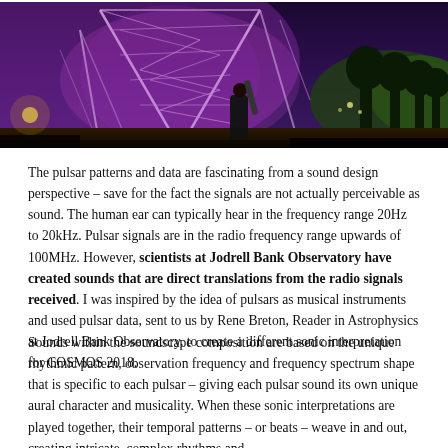[Figure (photo): Nighttime photograph of a large radio telescope or antenna structure illuminated with purple/pink lights, with a person operating equipment in the foreground and trees visible in the background against a dark sky.]
The pulsar patterns and data are fascinating from a sound design perspective – save for the fact the signals are not actually perceivable as sound. The human ear can typically hear in the frequency range 20Hz to 20kHz. Pulsar signals are in the radio frequency range upwards of 100MHz. However, scientists at Jodrell Bank Observatory have created sounds that are direct translations from the radio signals received. I was inspired by the idea of pulsars as musical instruments and used pulsar data, sent to us by Rene Breton, Reader in Astrophysics at Jodrell Bank Observatory, to create a different sonic interpretation for COSMOS 2018.
Sounds within the soundscape composition are based on the unique rhythmic pattern, observation frequency and frequency spectrum shape that is specific to each pulsar – giving each pulsar sound its own unique aural character and musicality. When these sonic interpretations are played together, their temporal patterns – or beats – weave in and out, creating intricate, complex rhythms and